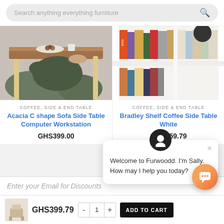[Figure (screenshot): Search bar with text 'Search anything everything furniture' and a search icon on the right]
[Figure (photo): Left product: A person sitting cross-legged under a wooden C-shape sofa side table with a plate of cookies on top. Walnut top with light wood legs.]
[Figure (photo): Right product: A white bookshelf/side table with books arranged on shelves and a dark decorative object on top.]
COFFEE, SIDE & END TABLE
Acacia C shape Sofa Side Table Computer Workstation
GHS399.00
COFFEE, SIDE & END TABLE
Bradley Shelf Coffee Side Table White
GHS459.79
[Figure (screenshot): Chat widget popup from Furwoodd with avatar of Sally, close button (x), and message 'Welcome to Furwoodd. I'm Sally. How may I help you today?']
Enter your Email for Discounts
[Figure (photo): Small product thumbnail in bottom add-to-cart bar]
GHS399.79
- 1 + ADD TO CART
[Figure (other): Orange circular chat launcher button with chat bubble icon]